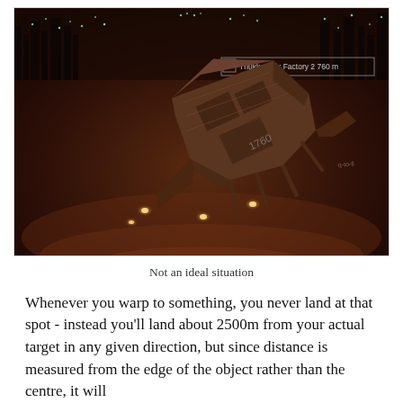[Figure (screenshot): A screenshot from EVE Online video game showing a large spaceship or space freighter vessel in close proximity to a space station (labeled 'Thukker Mix Factory 2 760 m') in a dark reddish-brown atmospheric space environment with a cityscape visible in the background.]
Not an ideal situation
Whenever you warp to something, you never land at that spot - instead you'll land about 2500m from your actual target in any given direction, but since distance is measured from the edge of the object rather than the centre, it will